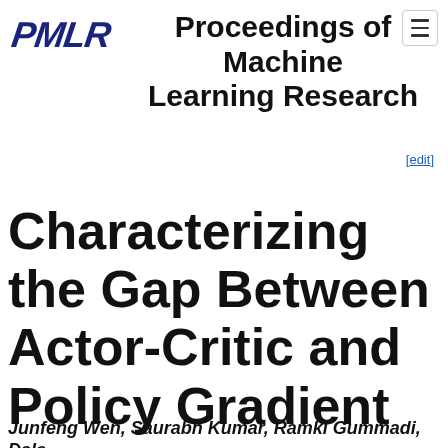PMLR Proceedings of Machine Learning Research
[edit]
Characterizing the Gap Between Actor-Critic and Policy Gradient
Junfeng Wen, Saurabh Kumar, Ramki Gummadi, Dale